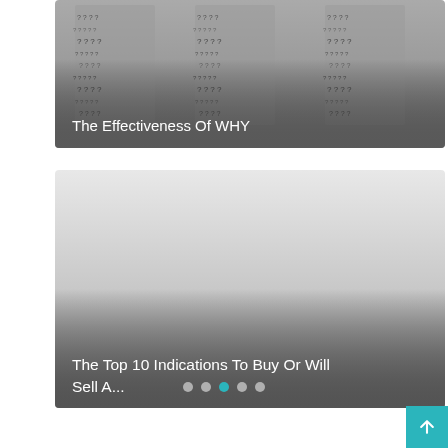[Figure (photo): Gray background image with question mark pattern forming the letters WHY, with white text overlay reading 'The Effectiveness Of WHY']
The Effectiveness Of WHY
[Figure (photo): Gray gradient image, light at top fading to darker at bottom, with white text overlay reading 'The Top 10 Indications To Buy Or Will Sell A...']
The Top 10 Indications To Buy Or Will Sell A...